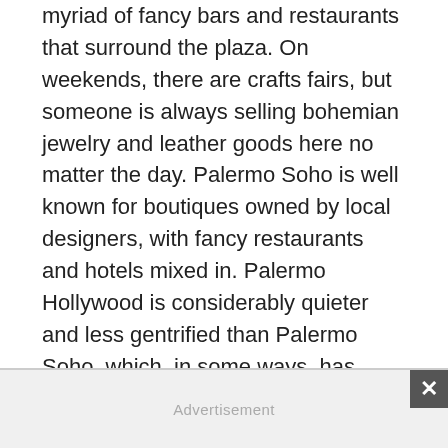myriad of fancy bars and restaurants that surround the plaza. On weekends, there are crafts fairs, but someone is always selling bohemian jewelry and leather goods here no matter the day. Palermo Soho is well known for boutiques owned by local designers, with fancy restaurants and hotels mixed in. Palermo Hollywood is considerably quieter and less gentrified than Palermo Soho, which, in some ways, has become a victim of its own success, populated during the day by lost tourists with maps and guidebooks in hand. Palermo Hollywood gained its name because many Argentine film studios were initially attracted to its once-cheap warehouse spaces and easy parking. There was an attempt to further relabel areas of Palermo Viejo as Palermo Queens, but this has largely failed.
Advertisement